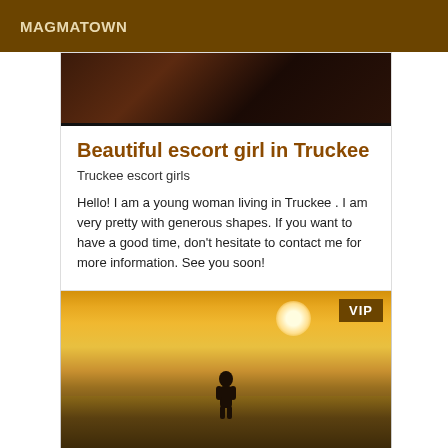MAGMATOWN
[Figure (photo): Dark toned photo at top of card, partially cropped]
Beautiful escort girl in Truckee
Truckee escort girls
Hello! I am a young woman living in Truckee . I am very pretty with generous shapes. If you want to have a good time, don't hesitate to contact me for more information. See you soon!
[Figure (photo): Woman silhouette against golden sunset at the beach, VIP badge in top right corner]